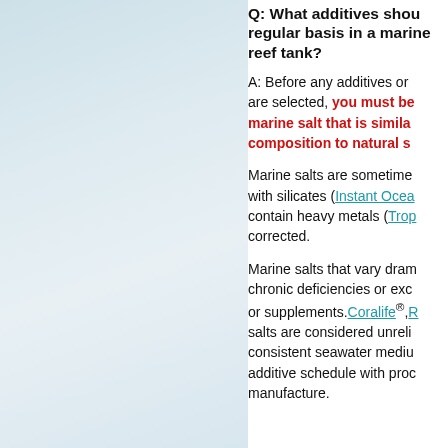Q: What additives should be added on a regular basis in a marine reef tank?
A: Before any additives or supplements are selected, you must be using a marine salt that is similar in composition to natural seawater.
Marine salts are sometimes adulterated with silicates (Instant Ocean) or contain heavy metals (Tropic Marin) which must be corrected.
Marine salts that vary dramatically cause chronic deficiencies or excesses that additives or supplements. Coralife®, [etc.] salts are considered unreliable for a consistent seawater medium and additive schedule with product manufacture.